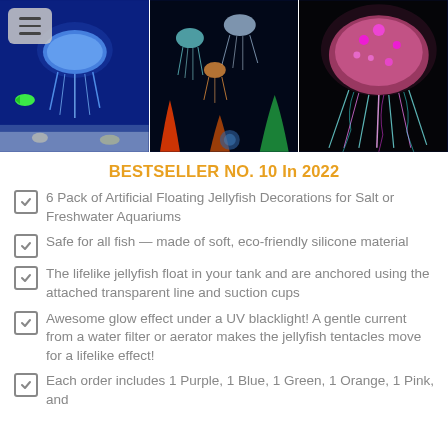[Figure (photo): Three-panel collage of glowing artificial jellyfish in aquarium tanks with blue and black backgrounds. Left panel shows blue glowing jellyfish in a tank, middle panel shows multiple colorful small jellyfish with red coral, right panel shows a large pink and multicolored jellyfish on black background.]
BESTSELLER NO. 10 In 2022
6 Pack of Artificial Floating Jellyfish Decorations for Salt or Freshwater Aquariums
Safe for all fish — made of soft, eco-friendly silicone material
The lifelike jellyfish float in your tank and are anchored using the attached transparent line and suction cups
Awesome glow effect under a UV blacklight! A gentle current from a water filter or aerator makes the jellyfish tentacles move for a lifelike effect!
Each order includes 1 Purple, 1 Blue, 1 Green, 1 Orange, 1 Pink, and